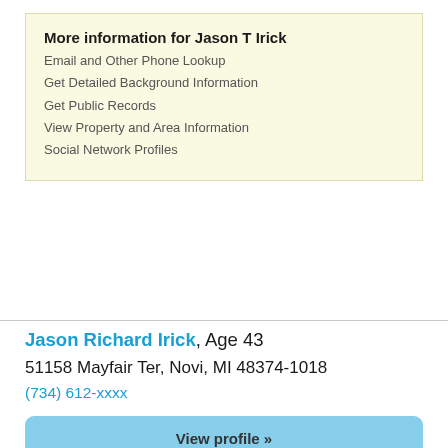More information for Jason T Irick
Email and Other Phone Lookup
Get Detailed Background Information
Get Public Records
View Property and Area Information
Social Network Profiles
Jason Richard Irick, Age 43
51158 Mayfair Ter, Novi, MI 48374-1018
(734) 612-xxxx
View profile »
More information for Jason Richard Irick
Email and Other Phone Lookup
Get Detailed Background Information
Get Public Records